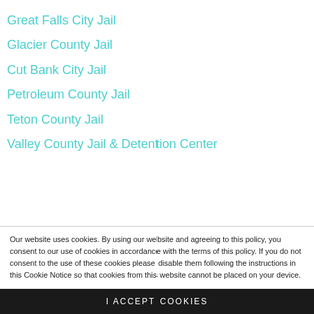Great Falls City Jail
Glacier County Jail
Cut Bank City Jail
Petroleum County Jail
Teton County Jail
Valley County Jail & Detention Center
Our website uses cookies. By using our website and agreeing to this policy, you consent to our use of cookies in accordance with the terms of this policy. If you do not consent to the use of these cookies please disable them following the instructions in this Cookie Notice so that cookies from this website cannot be placed on your device.
I ACCEPT COOKIES